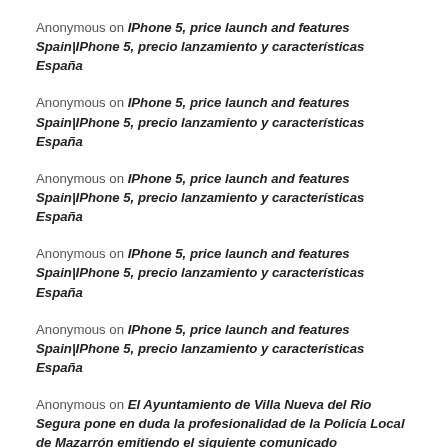Anonymous on IPhone 5, price launch and features Spain|IPhone 5, precio lanzamiento y características España
Anonymous on IPhone 5, price launch and features Spain|IPhone 5, precio lanzamiento y características España
Anonymous on IPhone 5, price launch and features Spain|IPhone 5, precio lanzamiento y características España
Anonymous on IPhone 5, price launch and features Spain|IPhone 5, precio lanzamiento y características España
Anonymous on IPhone 5, price launch and features Spain|IPhone 5, precio lanzamiento y características España
Anonymous on El Ayuntamiento de Villa Nueva del Rio Segura pone en duda la profesionalidad de la Policía Local de Mazarrón emitiendo el siguiente comunicado
Anonymous on MAZARRÓN FIESTAS – Mucho arte y diversión en las fiestas patronales de Gañuelas
Anonymous on MAZARRÓN FIESTAS – Mucho arte y diversión en las